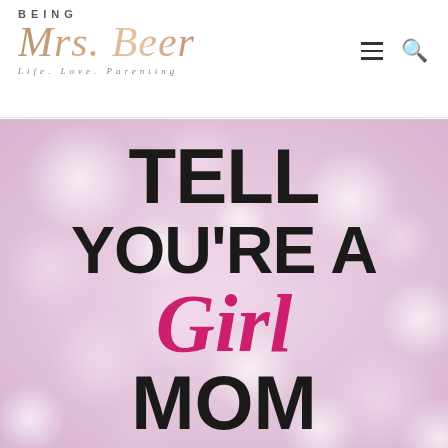[Figure (logo): Being Mrs. Beer blog logo with tagline 'Life. Love. Parenting' in rose-gold script font]
[Figure (illustration): Blog article hero image with pink bokeh background and bold text reading 'TELL YOU'RE A Girl MOM']